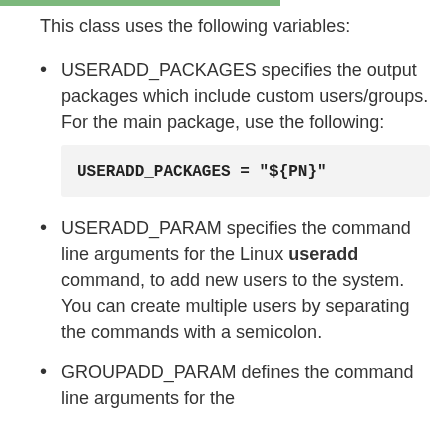This class uses the following variables:
USERADD_PACKAGES specifies the output packages which include custom users/groups. For the main package, use the following: USERADD_PACKAGES = "${PN}"
USERADD_PARAM specifies the command line arguments for the Linux useradd command, to add new users to the system. You can create multiple users by separating the commands with a semicolon.
GROUPADD_PARAM defines the command line arguments for the